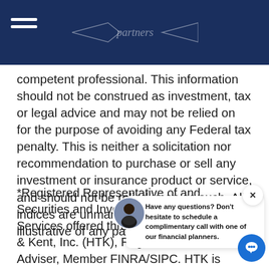Capital Financial Benefit Solutions — Partners
competent professional. This information should not be construed as investment, tax or legal advice and may not be relied on for the purpose of avoiding any Federal tax penalty. This is neither a solicitation nor recommendation to purchase or sell any investment or insurance product or service, and should not be relied upon as such. All indices are unmanaged and are not illustrative of any particular investment.
*Registered Representative of and Securities and Investment Advisory Services offered through Hornor, Townsend & Kent, Inc. (HTK), Registered Investment Adviser, Member FINRA/SIPC. HTK is located at One Horsham Business Center, Hunt Valley, MD 21030 410.821.2920, Capital Financial Benefit Solutions LLC and other listed entities are independent of Hornor, Townsend, & Kent, Inc
[Figure (screenshot): Chat popup overlay with avatar photo, close button (×), and message: 'Have any questions? Don't hesitate to schedule a complimentary call with one of our financial planners.' with blue chat icon at bottom right.]